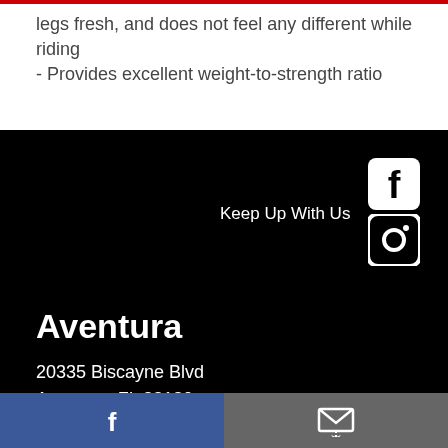legs fresh, and does not feel any different while riding
- Provides excellent weight-to-strength ratio
Keep Up With Us
[Figure (logo): Facebook and Instagram social media icons]
Aventura
20335 Biscayne Blvd
Aventura, FL 33180
(305) 682-8889
Directions & Hours
Parking available
Facebook icon | Email/newsletter icon